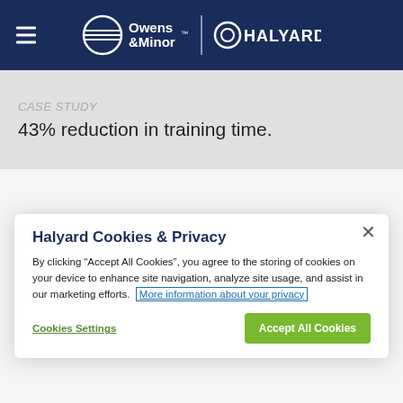Owens & Minor | HALYARD
43% reduction in training time.
Halyard Cookies & Privacy
By clicking “Accept All Cookies”, you agree to the storing of cookies on your device to enhance site navigation, analyze site usage, and assist in our marketing efforts. More information about your privacy